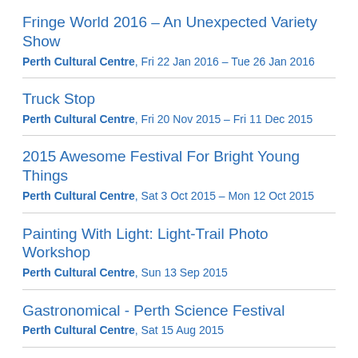Fringe World 2016 – An Unexpected Variety Show
Perth Cultural Centre, Fri 22 Jan 2016 – Tue 26 Jan 2016
Truck Stop
Perth Cultural Centre, Fri 20 Nov 2015 – Fri 11 Dec 2015
2015 Awesome Festival For Bright Young Things
Perth Cultural Centre, Sat 3 Oct 2015 – Mon 12 Oct 2015
Painting With Light: Light-Trail Photo Workshop
Perth Cultural Centre, Sun 13 Sep 2015
Gastronomical - Perth Science Festival
Perth Cultural Centre, Sat 15 Aug 2015